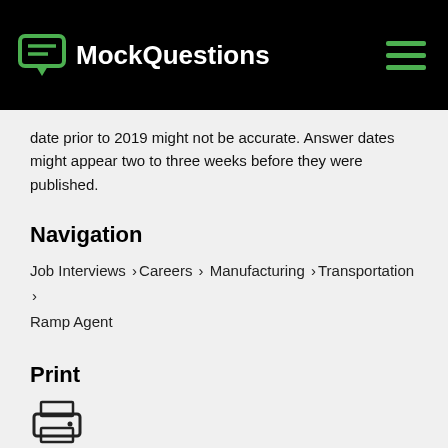MockQuestions
date prior to 2019 might not be accurate. Answer dates might appear two to three weeks before they were published.
Navigation
Job Interviews > Careers > Manufacturing > Transportation > Ramp Agent
Print
[Figure (illustration): Printer icon]
Disclaimer
Our interview questions and answers do not represent any organization, school, or company on our site. Interview questions